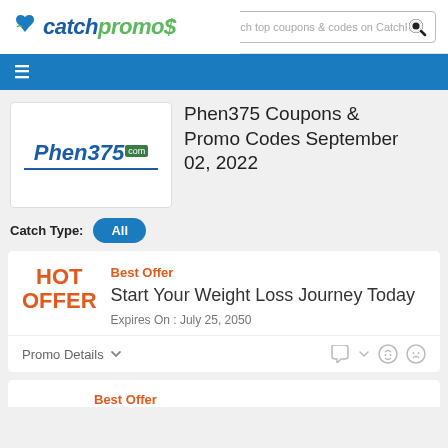catchpromos - Search top coupons & codes on CatchPromos
Phen375 Coupons & Promo Codes September 02, 2022
Catch Type: All
Best Offer
Start Your Weight Loss Journey Today
Expires On : July 25, 2050
Promo Details
Best Offer